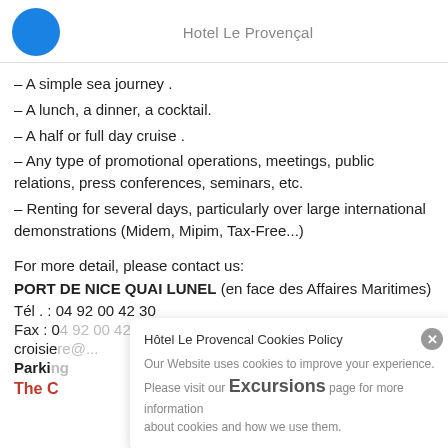Hotel Le Provençal
– A simple sea journey .
– A lunch, a dinner, a cocktail.
– A half or full day cruise .
– Any type of promotional operations, meetings, public relations, press conferences, seminars, etc.
– Renting for several days, particularly over large international demonstrations (Midem, Mipim, Tax-Free...)
For more detail, please contact us:
PORT DE NICE QUAI LUNEL (en face des Affaires Maritimes)
Tél . : 04 92 00 42 30
Fax : 04 92 00 42 31
croisiere@...
Parking
The C...
Hôtel Le Provencal Cookies Policy
Our Website uses cookies to improve your experience. Please visit our Excursions page for more information about cookies and how we use them.